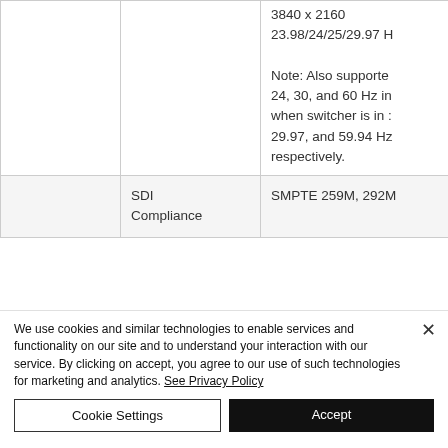|  | 3840 x 2160
23.98/24/25/29.97 H

Note: Also supported 24, 30, and 60 Hz inp when switcher is in : 29.97, and 59.94 Hz respectively. |
|  | SDI Compliance | SMPTE 259M, 292M |
We use cookies and similar technologies to enable services and functionality on our site and to understand your interaction with our service. By clicking on accept, you agree to our use of such technologies for marketing and analytics. See Privacy Policy